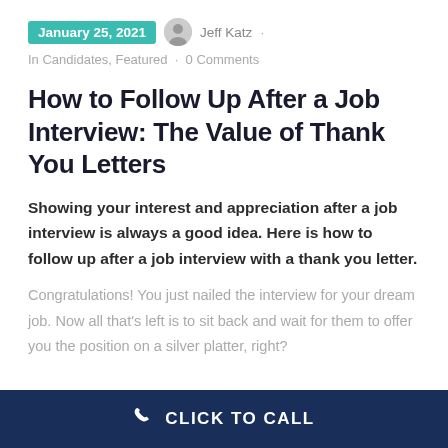January 25, 2021 · Jeff Katz · In Candidates, Featured · 0 Comments
How to Follow Up After a Job Interview: The Value of Thank You Letters
Showing your interest and appreciation after a job interview is always a good idea. Here is how to follow up after a job interview with a thank you letter.
Congratulations! You just nailed the interview for your dream job. Now all that's left is to sit back and wait for them to offer you the position on a silver platter, right?
CLICK TO CALL